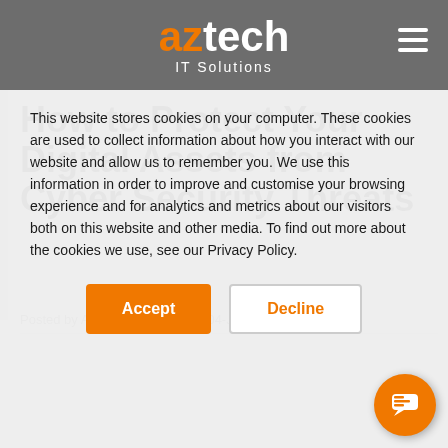aztech IT Solutions
How to Protect Your Digital Assets from Cyber Security Threats
Posted by AZTech IT Solutions | 04-Jun-2018 12:47:00
This website stores cookies on your computer. These cookies are used to collect information about how you interact with our website and allow us to remember you. We use this information in order to improve and customise your browsing experience and for analytics and metrics about our visitors both on this website and other media. To find out more about the cookies we use, see our Privacy Policy.
Accept
Decline